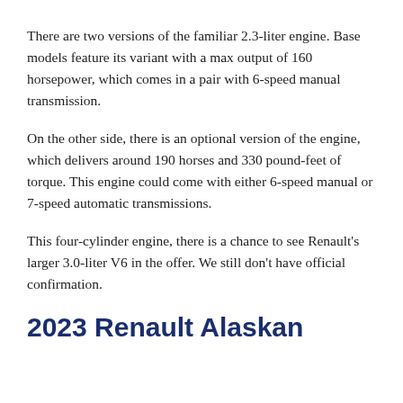There are two versions of the familiar 2.3-liter engine. Base models feature its variant with a max output of 160 horsepower, which comes in a pair with 6-speed manual transmission.
On the other side, there is an optional version of the engine, which delivers around 190 horses and 330 pound-feet of torque. This engine could come with either 6-speed manual or 7-speed automatic transmissions.
This four-cylinder engine, there is a chance to see Renault's larger 3.0-liter V6 in the offer. We still don't have official confirmation.
2023 Renault Alaskan